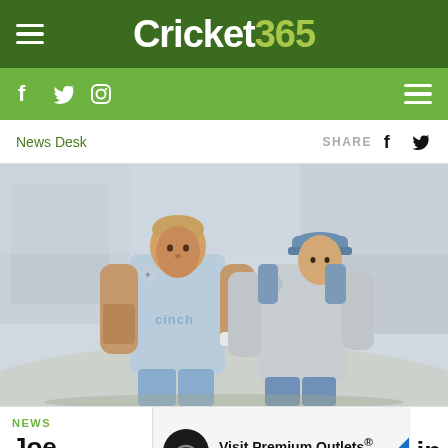Cricket 365
News Desk  SHARE
[Figure (photo): Two England cricketers in training kit walking on a cricket ground, one wearing a blue cinch-branded shirt and the other a grey long-sleeve top with a blue cap]
NEWS
Joe
ope
[Figure (other): Advertisement: Visit Premium Outlets® - Leesburg Premium Outlets]